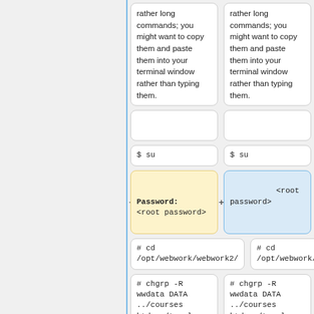rather long commands; you might want to copy them and paste them into your terminal window rather than typing them.
rather long commands; you might want to copy them and paste them into your terminal window rather than typing them.
$ su
$ su
Password: <root password>
<root password>
# cd /opt/webwork/webwork2/
# cd /opt/webwork/webwork2/
# chgrp -R wwdata DATA ../courses htdocs/tmp logs tmp
# chgrp -R wwdata DATA ../courses htdocs/tmp logs tmp